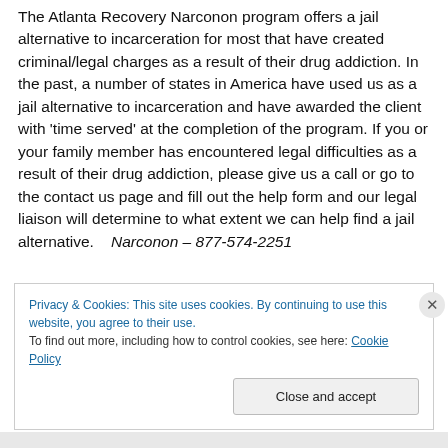The Atlanta Recovery Narconon program offers a jail alternative to incarceration for most that have created criminal/legal charges as a result of their drug addiction. In the past, a number of states in America have used us as a jail alternative to incarceration and have awarded the client with 'time served' at the completion of the program. If you or your family member has encountered legal difficulties as a result of their drug addiction, please give us a call or go to the contact us page and fill out the help form and our legal liaison will determine to what extent we can help find a jail alternative.    Narconon – 877-574-2251
Privacy & Cookies: This site uses cookies. By continuing to use this website, you agree to their use.
To find out more, including how to control cookies, see here: Cookie Policy
Close and accept